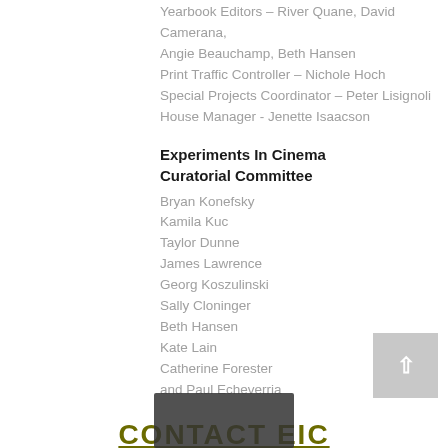Yearbook Editors – River Quane, David Camerana, Angie Beauchamp, Beth Hansen
Print Traffic Controller – Nichole Hoch
Special Projects Coordinator – Peter Lisignoli
House Manager - Jenette Isaacson
Experiments In Cinema
Curatorial Committee
Bryan Konefsky
Kamila Kuc
Taylor Dunne
James Lawrence
Georg Koszulinski
Sally Cloninger
Beth Hansen
Kate Lain
Catherine Forester
and Paul Echeverria
CONTACT EIC
P.O. Box 9229
Albuquerque, NM, USA 87119
experimentsincinema@gmail.com
Phone: 505-916-1635
General inquiries about the Festival.
Questions concerning submissions.
If you plan to attend from out of town.